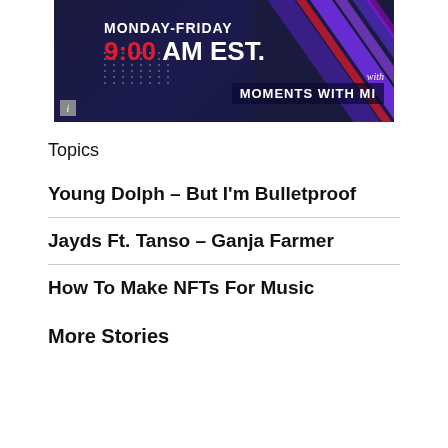[Figure (illustration): Banner image for 'Moments with Mi' show — dark navy background with colorful diagonal stripes, text reading MONDAY-FRIDAY, 9:00 AM EST., with 'Moments with Mi' branding.]
Topics
Young Dolph – But I'm Bulletproof
Jayds Ft. Tanso – Ganja Farmer
How To Make NFTs For Music
More Stories